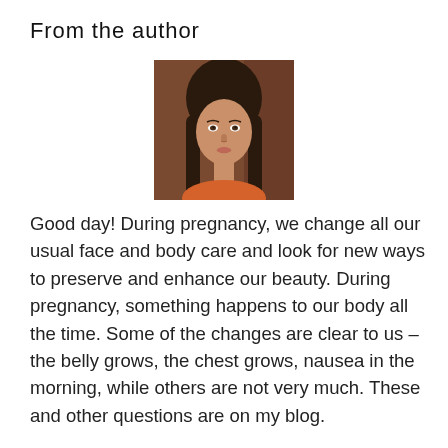From the author
[Figure (photo): Portrait photo of a woman with long dark hair, light skin, facing forward, against a warm brown background]
Good day! During pregnancy, we change all our usual face and body care and look for new ways to preserve and enhance our beauty. During pregnancy, something happens to our body all the time. Some of the changes are clear to us – the belly grows, the chest grows, nausea in the morning, while others are not very much. These and other questions are on my blog.